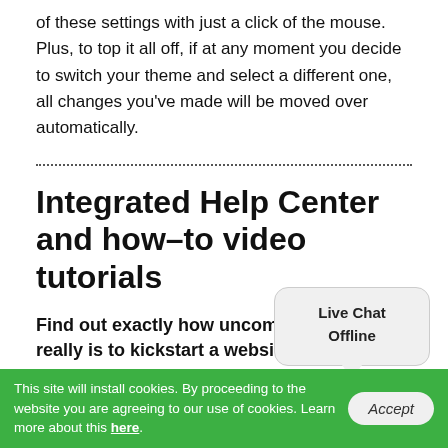of these settings with just a click of the mouse. Plus, to top it all off, if at any moment you decide to switch your theme and select a different one, all changes you've made will be moved over automatically.
Integrated Help Center and how–to video tutorials
Find out exactly how uncomplicated it really is to kickstart a website
In case you need any kind of assistance employing the Best Quality Hosting Services's site creator, there are multiple step–by–step articles and videos that cover the most frequently asked questions.
This site will install cookies. By proceeding to the website you are agreeing to our use of cookies. Learn more about this here.